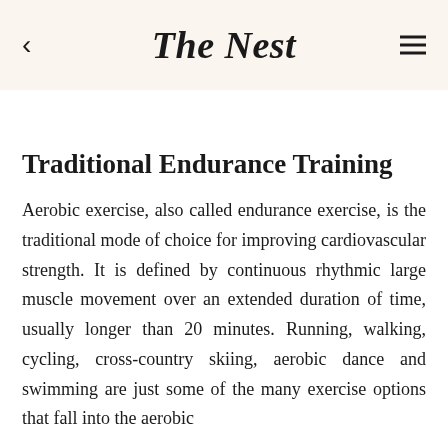The Nest
Traditional Endurance Training
Aerobic exercise, also called endurance exercise, is the traditional mode of choice for improving cardiovascular strength. It is defined by continuous rhythmic large muscle movement over an extended duration of time, usually longer than 20 minutes. Running, walking, cycling, cross-country skiing, aerobic dance and swimming are just some of the many exercise options that fall into the aerobic